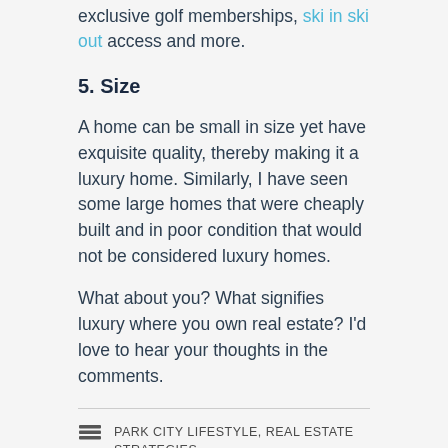exclusive golf memberships, ski in ski out access and more.
5. Size
A home can be small in size yet have exquisite quality, thereby making it a luxury home. Similarly, I have seen some large homes that were cheaply built and in poor condition that would not be considered luxury homes.
What about you? What signifies luxury where you own real estate? I’d love to hear your thoughts in the comments.
PARK CITY LIFESTYLE, REAL ESTATE STRATEGIES
KNOW VALUE, LUXURY REAL ESTATE, PARK CITY REAL ESTATE, UTAH LUXURY REAL ESTATE